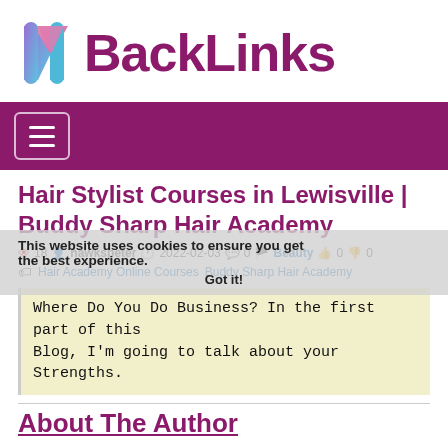[Figure (logo): MBackLinks logo with colorful M letter and purple BackLinks text]
Navigation bar with hamburger menu on purple background
Hair Stylist Courses in Lewisville | Buddy Sharp Hair Academy
18  hawkspeter  2022-02-03  0  Beauty  0  0
Hair Academy Online Courses  Buddy Sharp Hair Academy
This website uses cookies to ensure you get the best experience. Got it!
Where Do You Do Business? In the first part of this Blog, I'm going to talk about your Strengths.
About The Author